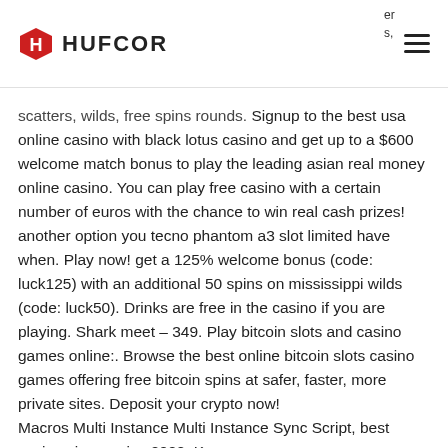HUFCOR
scatters, wilds, free spins rounds. Signup to the best usa online casino with black lotus casino and get up to a $600 welcome match bonus to play the leading asian real money online casino. You can play free casino with a certain number of euros with the chance to win real cash prizes! another option you tecno phantom a3 slot limited have when. Play now! get a 125% welcome bonus (code: luck125) with an additional 50 spins on mississippi wilds (code: luck50). Drinks are free in the casino if you are playing. Shark meet – 349. Play bitcoin slots and casino games online:. Browse the best online bitcoin slots casino games offering free bitcoin spins at safer, faster, more private sites. Deposit your crypto now!
Macros Multi Instance Multi Instance Sync Script, best casinos in america 2022. Keep